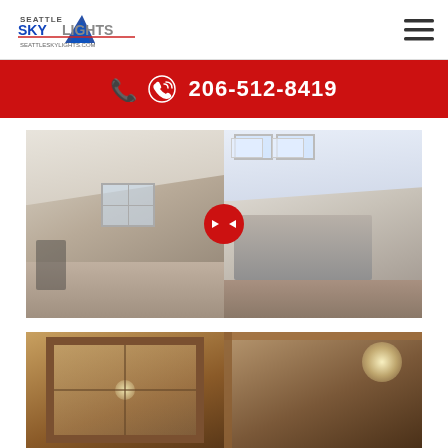[Figure (logo): Seattle Skylights logo with blue and silver text and red/blue graphic element, seattleskylights.com]
[Figure (infographic): Hamburger menu icon (three horizontal lines) in top right corner]
206-512-8419
[Figure (photo): Before/after image comparison of a room with skylights. Left shows an attic room without skylights (bike, chair, window). Right shows a bedroom with velux skylights installed. Red circle toggle button in the center with arrow icons.]
[Figure (photo): Bottom partial image strip showing two photos of skylight installations from below, wooden frames visible.]